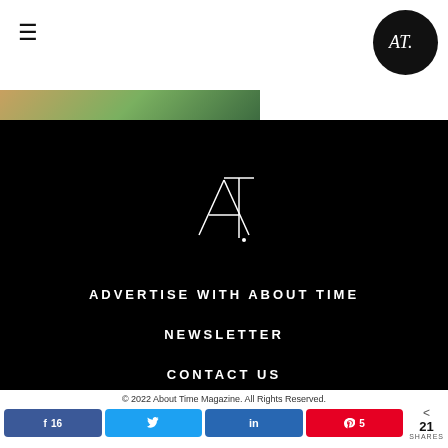≡   AT. (logo)
[Figure (photo): Partial image strip showing nature/outdoor scene in warm and green tones]
[Figure (logo): About Time Magazine AT logo in white on black background]
ADVERTISE WITH ABOUT TIME
NEWSLETTER
CONTACT US
MEET THE TEAM
© 2022 About Time Magazine. All Rights Reserved.
f 16   Twitter   in   P 5   < 21 SHARES